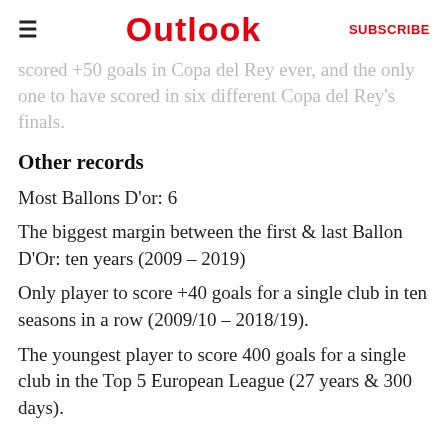Outlook  SUBSCRIBE
scored +50 goals in Copa del Rey ever, and the only one to have scored in six different Copa del Rey's finals.
Other records
Most Ballons D'or: 6
The biggest margin between the first & last Ballon D'Or: ten years (2009 – 2019)
Only player to score +40 goals for a single club in ten seasons in a row (2009/10 – 2018/19).
The youngest player to score 400 goals for a single club in the Top 5 European League (27 years & 300 days).